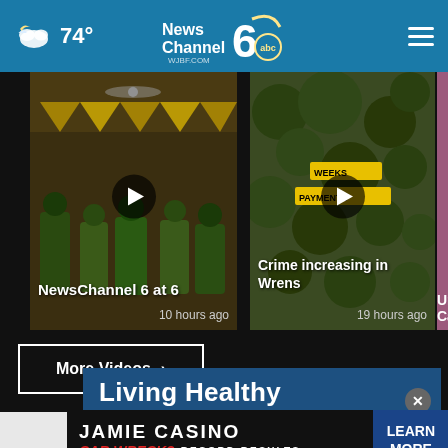74° — NewsChannel 6 WJBF.com ABC
[Figure (screenshot): Video thumbnail: NewsChannel 6 at 6 broadcast showing indoor event with people and decorations. Play button overlay. Title: NewsChannel 6 at 6. Timestamp: 10 hours ago.]
[Figure (screenshot): Video thumbnail: Crime increasing in Wrens — aerial view with yellow text overlay. Play button overlay. Title: Crime increasing in Wrens. Timestamp: 19 hours ago.]
[Figure (screenshot): Partially visible third video card. Title: Univer... Carol... (truncated)]
More Videos ›
[Figure (other): Living Healthy advertisement: 'Living Healthy / Fridays on Good Morning Augusta' on dark blue background with close (x) button]
[Figure (other): Jamie Casino Car Wreck? Record Results — Learn More advertisement on dark background]